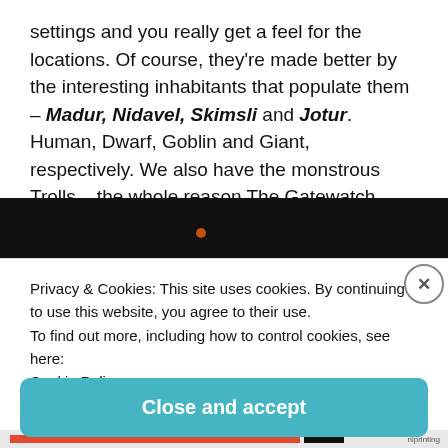settings and you really get a feel for the locations. Of course, they're made better by the interesting inhabitants that populate them – Madur, Nidavel, Skimsli and Jotur. Human, Dwarf, Goblin and Giant, respectively. We also have the monstrous Trolls – the whole reason The Gatewatch (imagine a sort of more cheerful and full-of-food Castle Black) exists.
[Figure (photo): Dark background image with a small orange/red glowing dot, partially visible, with a white cookie consent overlay on top.]
Privacy & Cookies: This site uses cookies. By continuing to use this website, you agree to their use.
To find out more, including how to control cookies, see here:
Cookie Policy
Close and accept